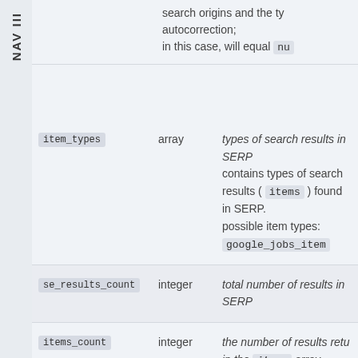NAV III
search origins and the type autocorrection;
in this case, will equal nul
| Field | Type | Description |
| --- | --- | --- |
| item_types | array | types of search results in SERP
contains types of search results (items) found in SERP.
possible item types:
google_jobs_item |
| se_results_count | integer | total number of results in SERP |
| items_count | integer | the number of results returned in the items array |
Accept and Close ×
Your browser settings do not allow cross-site tracking for advertising. Click on this page to allow AdRoll to use cross-site tracking to tailor ads to you. Learn more or opt out of this AdRoll tracking by clicking here. This message only appears once.